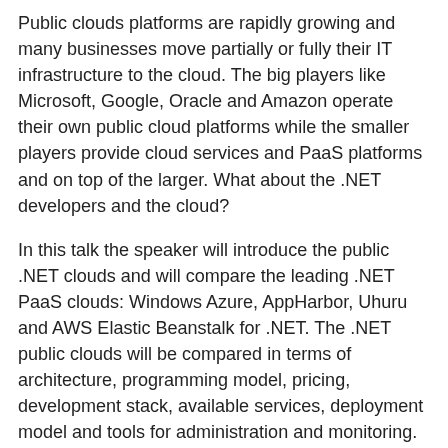Public clouds platforms are rapidly growing and many businesses move partially or fully their IT infrastructure to the cloud. The big players like Microsoft, Google, Oracle and Amazon operate their own public cloud platforms while the smaller players provide cloud services and PaaS platforms and on top of the larger. What about the .NET developers and the cloud?
In this talk the speaker will introduce the public .NET clouds and will compare the leading .NET PaaS clouds: Windows Azure, AppHarbor, Uhuru and AWS Elastic Beanstalk for .NET. The .NET public clouds will be compared in terms of architecture, programming model, pricing, development stack, available services, deployment model and tools for administration and monitoring. A live demo will show how to deploy and run a typical .NET application (based on ASP.NET MVC and MS SQL Server) in AppHarbor and Uhuru.
I will not show a demo about Amazon AWS and Beanstalk for .NET as well as about Azure. Azure and AWS will be